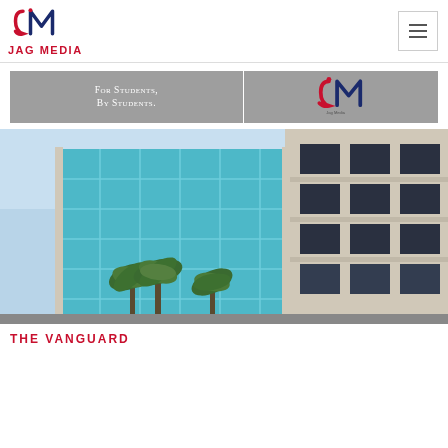[Figure (logo): JAG Media logo with stylized J and M letters, red and navy blue, with text JAG MEDIA below in red bold]
[Figure (illustration): Gray banner with text 'For Students, By Students.' in white small-caps serif font on left, vertical white divider, and Jag Media logo on right]
[Figure (photo): Exterior photo of a modern multi-story building with blue glass windows and concrete facade, with palm trees in foreground against a light blue sky]
THE VANGUARD